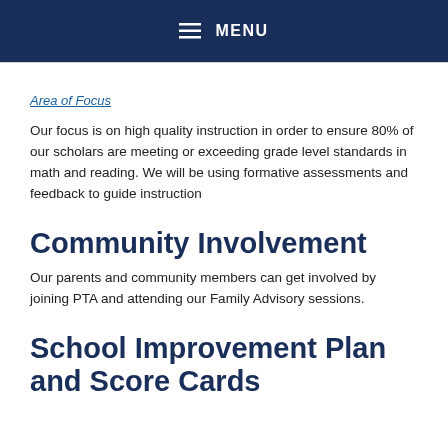≡ MENU
Area of Focus
Our focus is on high quality instruction in order to ensure 80% of our scholars are meeting or exceeding grade level standards in math and reading. We will be using formative assessments and feedback to guide instruction
Community Involvement
Our parents and community members can get involved by joining PTA and attending our Family Advisory sessions.
School Improvement Plan and Score Cards